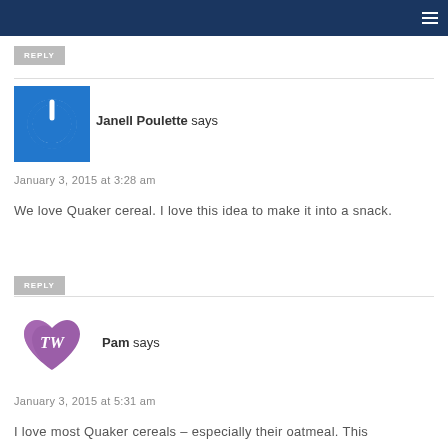REPLY
Janell Poulette says
January 3, 2015 at 3:28 am
We love Quaker cereal. I love this idea to make it into a snack.
REPLY
Pam says
January 3, 2015 at 5:31 am
I love most Quaker cereals – especially their oatmeal. This